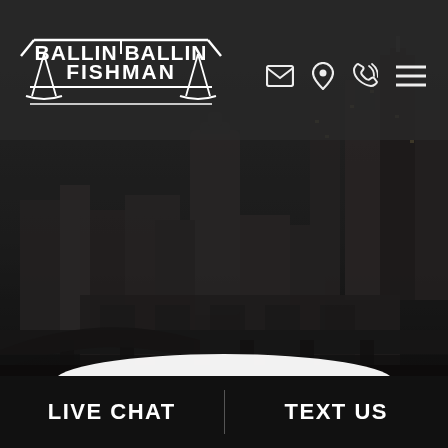[Figure (logo): Ballin Ballin Fishman law firm logo with scales of justice, white text on dark background]
[Figure (photo): Dark cityscape/skyline photo of a city with skyscrapers, highways, and overpasses in overcast gray tones]
LIVE CHAT
TEXT US